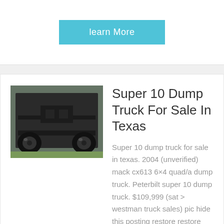learn More
[Figure (photo): Underside/rear view of a dump truck chassis showing wheels and axles]
Super 10 Dump Truck For Sale In Texas
Super 10 dump truck for sale in texas. 2004 (unverified) mack cx613 6×4 quad/a dump truck. Peterbilt super 10 dump truck. $109,999 (sat > westman truck sales) pic hide this posting restore restore this posting. 2016 f750 dump truck for sale. 2011 western star super 10 dump truck $64,995 (huntington beach) pic hide this posting restore restore